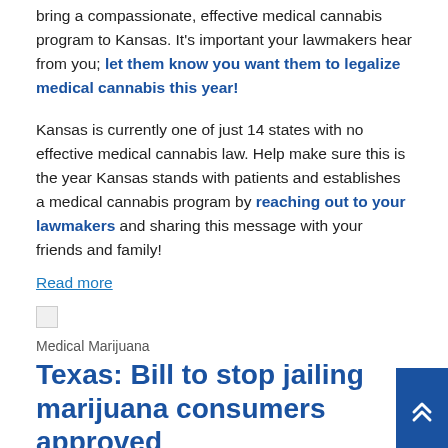bring a compassionate, effective medical cannabis program to Kansas. It's important your lawmakers hear from you; let them know you want them to legalize medical cannabis this year!
Kansas is currently one of just 14 states with no effective medical cannabis law. Help make sure this is the year Kansas stands with patients and establishes a medical cannabis program by reaching out to your lawmakers and sharing this message with your friends and family!
Read more
[Figure (illustration): Broken image placeholder icon]
Medical Marijuana
Texas: Bill to stop jailing marijuana consumers approved